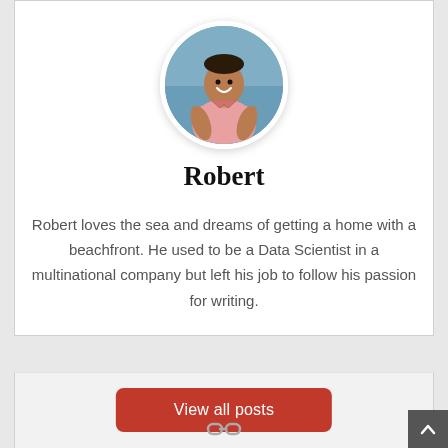[Figure (photo): Circular profile photo of a smiling man in a pink shirt standing near the sea]
Robert
Robert loves the sea and dreams of getting a home with a beachfront. He used to be a Data Scientist in a multinational company but left his job to follow his passion for writing.
View all posts
[Figure (illustration): Chain link icon]